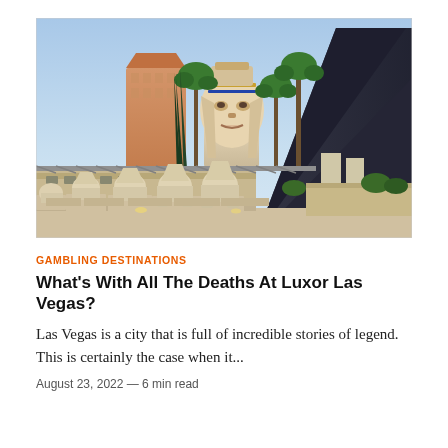[Figure (photo): Exterior of the Luxor Las Vegas hotel and casino showing a row of sphinx statues in the foreground, a large sphinx head sculpture in the background, palm trees, and the iconic dark pyramid structure on the right side of the image.]
GAMBLING DESTINATIONS
What's With All The Deaths At Luxor Las Vegas?
Las Vegas is a city that is full of incredible stories of legend. This is certainly the case when it...
August 23, 2022 — 6 min read